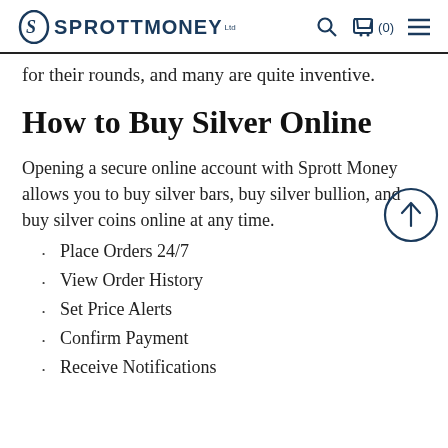SPROTT MONEY
for their rounds, and many are quite inventive.
How to Buy Silver Online
Opening a secure online account with Sprott Money allows you to buy silver bars, buy silver bullion, and buy silver coins online at any time.
Place Orders 24/7
View Order History
Set Price Alerts
Confirm Payment
Receive Notifications